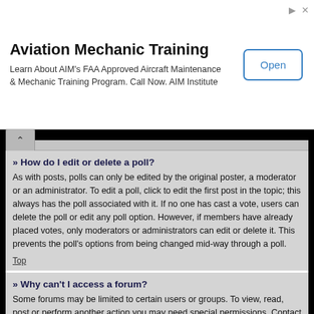[Figure (other): Advertisement banner for Aviation Mechanic Training with an Open button]
» How do I edit or delete a poll?
As with posts, polls can only be edited by the original poster, a moderator or an administrator. To edit a poll, click to edit the first post in the topic; this always has the poll associated with it. If no one has cast a vote, users can delete the poll or edit any poll option. However, if members have already placed votes, only moderators or administrators can edit or delete it. This prevents the poll's options from being changed mid-way through a poll.
Top
» Why can't I access a forum?
Some forums may be limited to certain users or groups. To view, read, post or perform another action you may need special permissions. Contact a moderator or board administrator to grant you access.
Top
» Why can't I add attachments?
Attachment permissions are granted on a per forum, per group, or